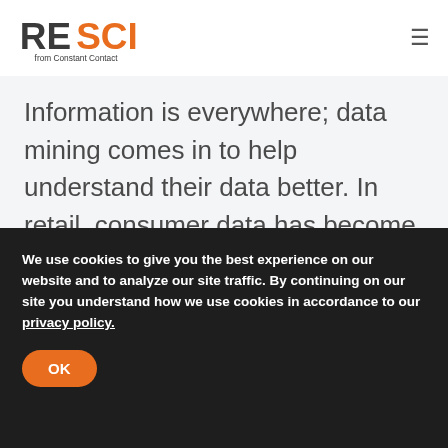RESCI from Constant Contact
Information is everywhere; data mining comes in to help understand their data better. In retail, consumer data has become increasingly important to understand, especially faced with heavy competition from giants
We use cookies to give you the best experience on our website and to analyze our site traffic. By continuing on our site you understand how we use cookies in accordance to our privacy policy.
OK